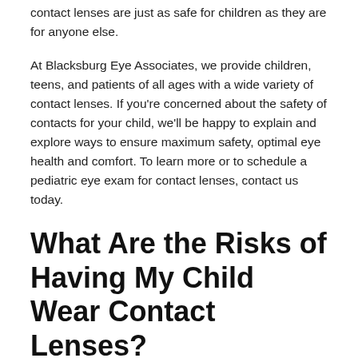contact lenses are just as safe for children as they are for anyone else.
At Blacksburg Eye Associates, we provide children, teens, and patients of all ages with a wide variety of contact lenses. If you're concerned about the safety of contacts for your child, we'll be happy to explain and explore ways to ensure maximum safety, optimal eye health and comfort. To learn more or to schedule a pediatric eye exam for contact lenses, contact us today.
What Are the Risks of Having My Child Wear Contact Lenses?
A study published in the January 2021 issue of The Journal of Ophthalmic & Physiological Optics found that kids aren't at a higher risk of experiencing contact lens complications.
The study followed nearly 1000 children aged 8-16 over the course of 1.5-3 years to determine how contact lenses affected their eye health.